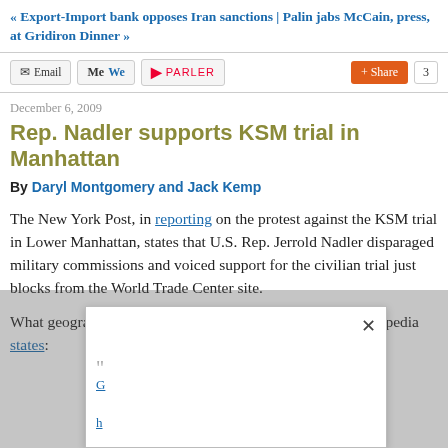« Export-Import bank opposes Iran sanctions | Palin jabs McCain, press, at Gridiron Dinner »
[Figure (screenshot): Toolbar with Email, MeWe, Parler share buttons and a Share button with count of 3]
December 6, 2009
Rep. Nadler supports KSM trial in Manhattan
By Daryl Montgomery and Jack Kemp
The New York Post, in reporting on the protest against the KSM trial in Lower Manhattan, states that U.S. Rep. Jerrold Nadler disparaged military commissions and voiced support for the civilian trial just blocks from the World Trade Center site.
What geographic area does Jerrold Nadler "represent?" Wikipedia states:
[Figure (screenshot): Modal/popup overlay with close button (x) and partial links visible]